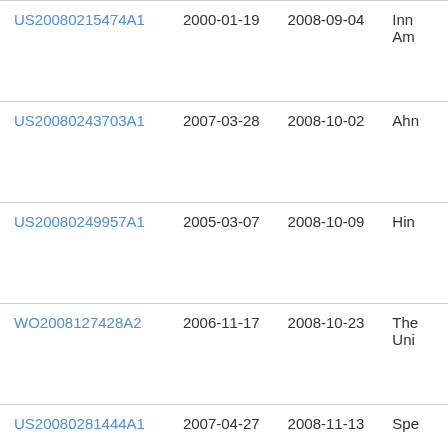| US20080215474A1 | 2000-01-19 | 2008-09-04 | Inn Am |
| US20080243703A1 | 2007-03-28 | 2008-10-02 | Ahn |
| US20080249957A1 | 2005-03-07 | 2008-10-09 | Hin |
| WO2008127428A2 | 2006-11-17 | 2008-10-23 | The Uni |
| US20080281444A1 | 2007-04-27 | 2008-11-13 | Spe |